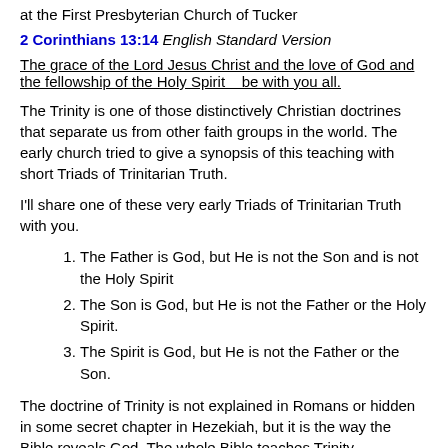at the First Presbyterian Church of Tucker
2 Corinthians 13:14 English Standard Version
The grace of the Lord Jesus Christ and the love of God and the fellowship of the Holy Spirit    be with you all.
The Trinity is one of those distinctively Christian doctrines that separate us from other faith groups in the world. The early church tried to give a synopsis of this teaching with short Triads of Trinitarian Truth.
I'll share one of these very early Triads of Trinitarian Truth with you.
The Father is God, but He is not the Son and is not the Holy Spirit
The Son is God, but He is not the Father or the Holy Spirit.
The Spirit is God, but He is not the Father or the Son.
The doctrine of Trinity is not explained in Romans or hidden in some secret chapter in Hezekiah, but it is the way the Bible reveals God. The whole Bible teaches Trinity.
The word TRINITY is a theological construct. We invent the word to explain a biblical phenomenon, to encapsulate in a word